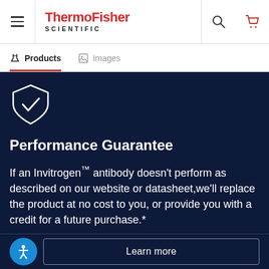ThermoFisher SCIENTIFIC
Products   Images
[Figure (illustration): White shield with checkmark icon on dark navy background]
Performance Guarantee
If an Invitrogen™ antibody doesn't perform as described on our website or datasheet,we'll replace the product at no cost to you, or provide you with a credit for a future purchase.*
Learn more